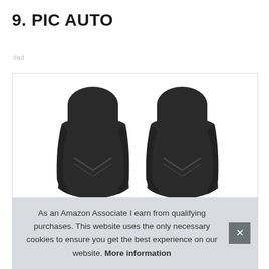9. PIC AUTO
#ad
[Figure (photo): Two black car seat covers shown side by side, viewed from the front, with leather-like material and a chevron stitch pattern on the backrest.]
As an Amazon Associate I earn from qualifying purchases. This website uses the only necessary cookies to ensure you get the best experience on our website. More information